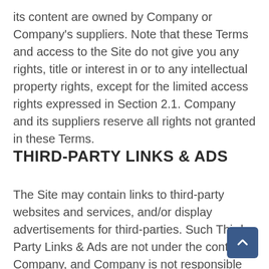its content are owned by Company or Company's suppliers. Note that these Terms and access to the Site do not give you any rights, title or interest in or to any intellectual property rights, except for the limited access rights expressed in Section 2.1. Company and its suppliers reserve all rights not granted in these Terms.
THIRD-PARTY LINKS & ADS
The Site may contain links to third-party websites and services, and/or display advertisements for third-parties. Such Third-Party Links & Ads are not under the control of Company, and Company is not responsible for